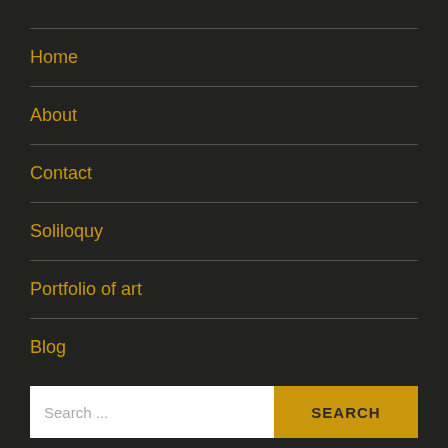Home
About
Contact
Soliloquy
Portfolio of art
Blog
Search ...
SEARCH